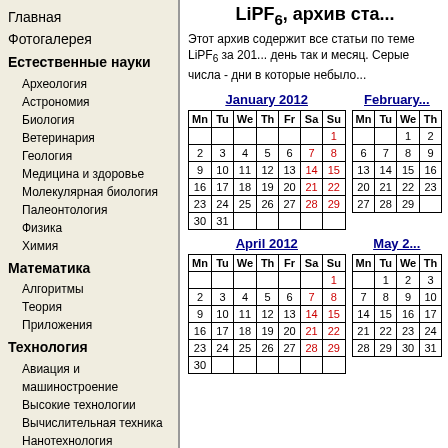Главная
Фотогалерея
Естественные науки
Археология
Астрономия
Биология
Ветеринария
Геология
Медицина и здоровье
Молекулярная биология
Палеонтология
Физика
Химия
Математика
Алгоритмы
Теория
Приложения
Технология
Авиация и машиностроение
Высокие технологии
Вычислительная техника
Нанотехнология
LiPF6, архив ста...
Этот архив содержит все статьи по теме LiPF6 за 201... день так и месяц. Серые числа - дни в которые небыло...
| Mn | Tu | We | Th | Fr | Sa | Su |
| --- | --- | --- | --- | --- | --- | --- |
|  |  |  |  |  |  | 1 |
| 2 | 3 | 4 | 5 | 6 | 7 | 8 |
| 9 | 10 | 11 | 12 | 13 | 14 | 15 |
| 16 | 17 | 18 | 19 | 20 | 21 | 22 |
| 23 | 24 | 25 | 26 | 27 | 28 | 29 |
| 30 | 31 |  |  |  |  |  |
| Mn | Tu | We | Th |
| --- | --- | --- | --- |
|  |  | 1 | 2 |
| 6 | 7 | 8 | 9 |
| 13 | 14 | 15 | 16 |
| 20 | 21 | 22 | 23 |
| 27 | 28 | 29 |  |